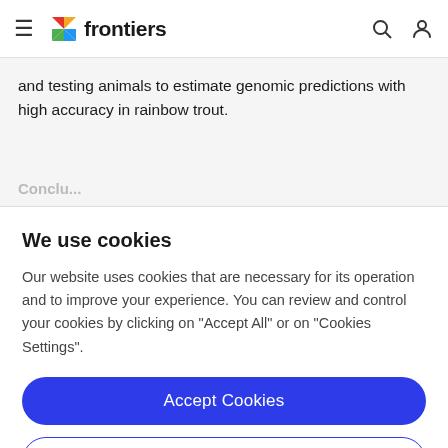frontiers
and testing animals to estimate genomic predictions with high accuracy in rainbow trout.
We use cookies
Our website uses cookies that are necessary for its operation and to improve your experience. You can review and control your cookies by clicking on "Accept All" or on "Cookies Settings".
Accept Cookies
Cookies Settings